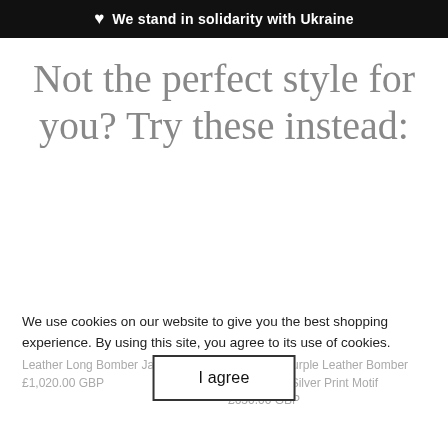♥ We stand in solidarity with Ukraine
Not the perfect style for you? Try these instead:
We use cookies on our website to give you the best shopping experience. By using this site, you agree to its use of cookies.
I agree
Leather Long Bomber Jacket 'Net'
£1,020.00 GBP
Black and Purple Leather Bomber Jacket with Silver Print Motif
£650.00 GBP